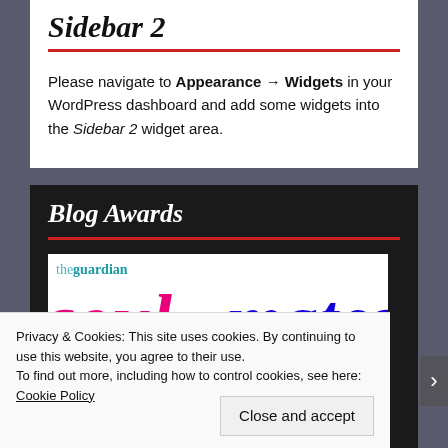Sidebar 2
Please navigate to Appearance → Widgets in your WordPress dashboard and add some widgets into the Sidebar 2 widget area.
Blog Awards
[Figure (logo): The Guardian Soulmates logo — 'theguardian' in teal serif at top, 'soul' in large pink italic bold and 'mates' in large blue italic bold below]
Privacy & Cookies: This site uses cookies. By continuing to use this website, you agree to their use. To find out more, including how to control cookies, see here: Cookie Policy